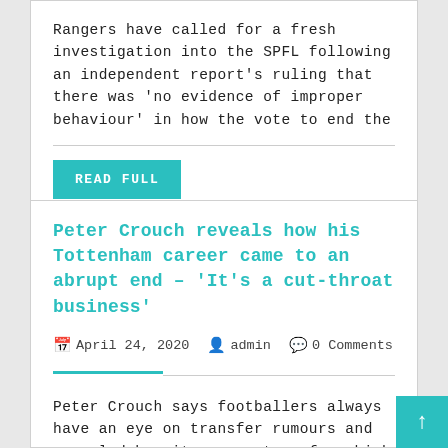Rangers have called for a fresh investigation into the SPFL following an independent report's ruling that there was 'no evidence of improper behaviour' in how the vote to end the
READ FULL
Peter Crouch reveals how his Tottenham career came to an abrupt end – 'It's a cut-throat business'
April 24, 2020   admin   0 Comments
Peter Crouch says footballers always have an eye on transfer rumours and revealed how it was on transfer which brought his Tottenham career to a abrupt end. The former striker